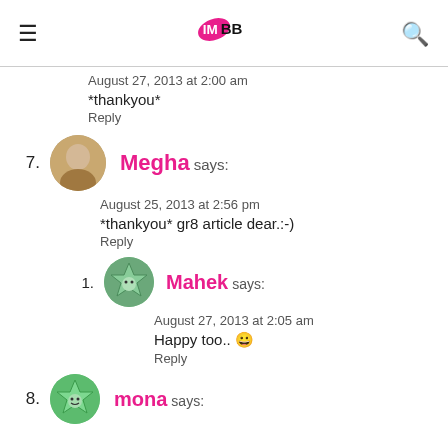IMBB logo, hamburger menu, search icon
August 27, 2013 at 2:00 am
*thankyou*
Reply
7. Megha says:
August 25, 2013 at 2:56 pm
*thankyou* gr8 article dear..:-)
Reply
1. Mahek says:
August 27, 2013 at 2:05 am
Happy too.. 🙂
Reply
8. mona says: